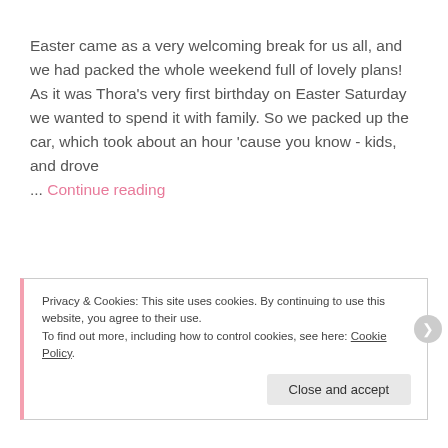Easter came as a very welcoming break for us all, and we had packed the whole weekend full of lovely plans! As it was Thora's very first birthday on Easter Saturday we wanted to spend it with family. So we packed up the car, which took about an hour 'cause you know - kids, and drove ... Continue reading
Privacy & Cookies: This site uses cookies. By continuing to use this website, you agree to their use. To find out more, including how to control cookies, see here: Cookie Policy
Close and accept